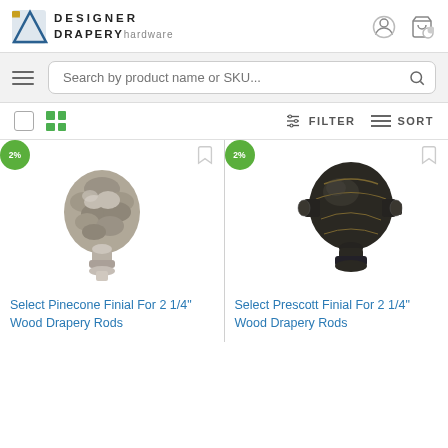Designer Drapery Hardware
Search by product name or SKU...
FILTER   SORT
[Figure (photo): Silver/pewter pinecone finial for drapery rod with badge '2%']
Select Pinecone Finial For 2 1/4" Wood Drapery Rods
[Figure (photo): Dark bronze/black prescott finial for drapery rod with badge '2%']
Select Prescott Finial For 2 1/4" Wood Drapery Rods